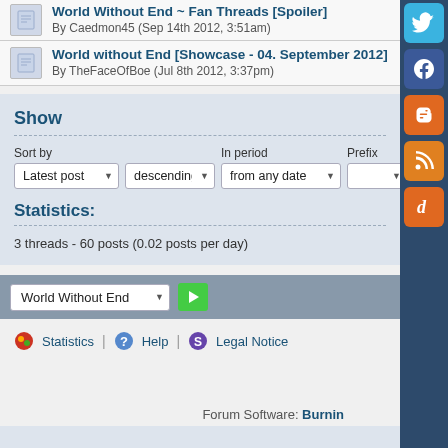World Without End ~ Fan Threads [Spoiler]
By Caedmon45 (Sep 14th 2012, 3:51am)
World without End [Showcase - 04. September 2012]
By TheFaceOfBoe (Jul 8th 2012, 3:37pm)
Show
Sort by: Latest post descending | In period: from any date | Prefix:
Statistics:
3 threads - 60 posts (0.02 posts per day)
World Without End
Statistics | Help | Legal Notice
Forum Software: Burnin